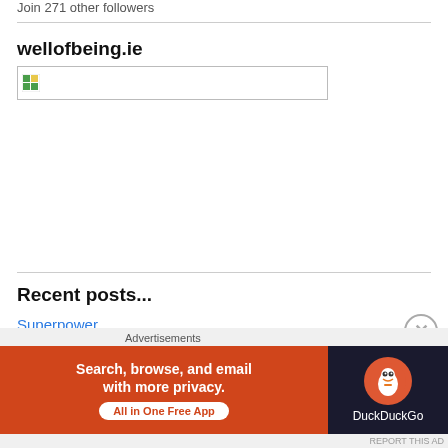Join 271 other followers
wellofbeing.ie
[Figure (photo): Broken image placeholder thumbnail]
Recent posts...
Superpower
Advertisements
[Figure (screenshot): DuckDuckGo advertisement banner: Search, browse, and email with more privacy. All in One Free App]